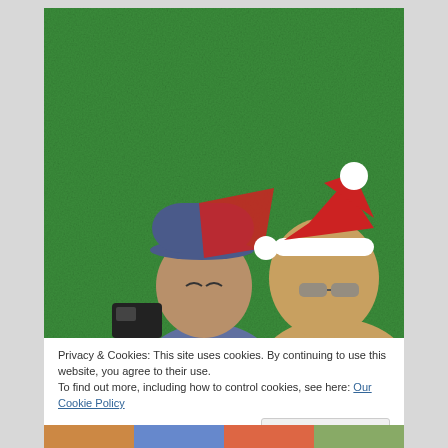[Figure (photo): Two people wearing Santa hats in front of a green background. One person wearing sunglasses on the right, the other with a blue cap. Bottom left shows a partial view of some object.]
Privacy & Cookies: This site uses cookies. By continuing to use this website, you agree to their use.
To find out more, including how to control cookies, see here: Our Cookie Policy
Close and accept
[Figure (photo): Partial bottom strip showing the tops of people's heads with colorful clothing, cut off at the bottom of the page.]